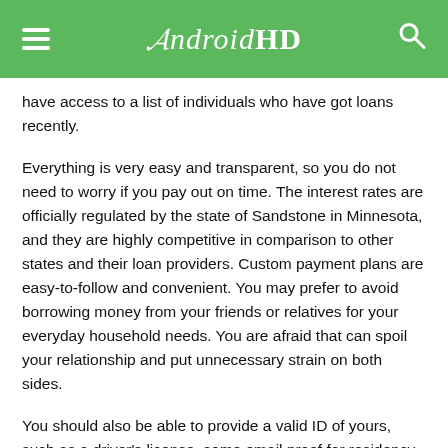AndroidHD
have access to a list of individuals who have got loans recently.
Everything is very easy and transparent, so you do not need to worry if you pay out on time. The interest rates are officially regulated by the state of Sandstone in Minnesota, and they are highly competitive in comparison to other states and their loan providers. Custom payment plans are easy-to-follow and convenient. You may prefer to avoid borrowing money from your friends or relatives for your everyday household needs. You are afraid that can spoil your relationship and put unnecessary strain on both sides.
You should also be able to provide a valid ID of yours, such as a driver's license, some email proof for residency, and, if additionally, required by a lender, some references. Customers with bad credit history can also get such a loan. One important note is that there are no Installment loans Sandstone no checking account. The reason why